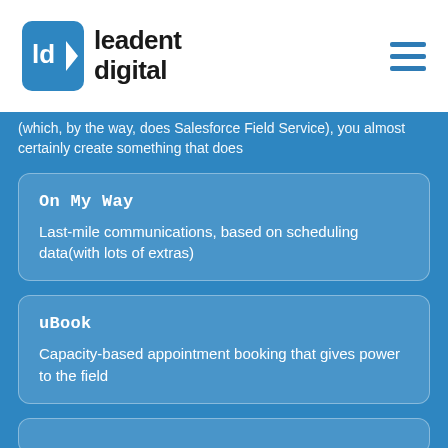leadent digital
(which, by the way, does Salesforce Field Service), you almost certainly create something that does
On My Way
Last-mile communications, based on scheduling data(with lots of extras)
uBook
Capacity-based appointment booking that gives power to the field